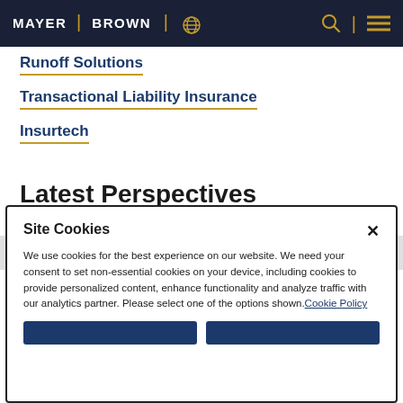MAYER | BROWN
Runoff Solutions
Transactional Liability Insurance
Insurtech
Latest Perspectives
Site Cookies

We use cookies for the best experience on our website. We need your consent to set non-essential cookies on your device, including cookies to provide personalized content, enhance functionality and analyze traffic with our analytics partner. Please select one of the options shown. Cookie Policy